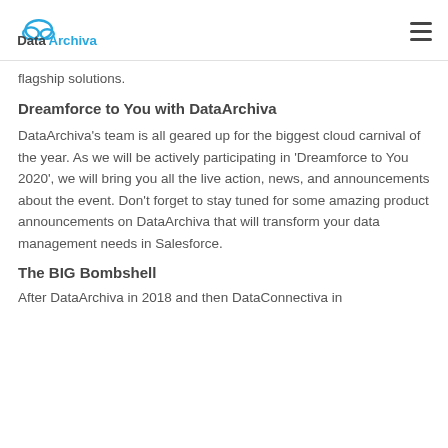DataArchiva
flagship solutions.
Dreamforce to You with DataArchiva
DataArchiva's team is all geared up for the biggest cloud carnival of the year. As we will be actively participating in 'Dreamforce to You 2020', we will bring you all the live action, news, and announcements about the event. Don't forget to stay tuned for some amazing product announcements on DataArchiva that will transform your data management needs in Salesforce.
The BIG Bombshell
After DataArchiva in 2018 and then DataConnectiva in